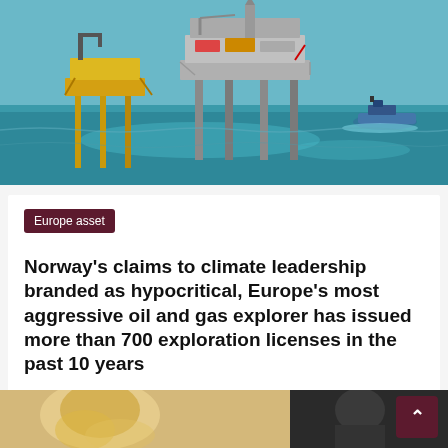[Figure (photo): Aerial view of offshore oil platforms in the ocean, with two large yellow and grey oil rigs and a supply vessel visible on calm blue-green water]
Europe asset
Norway's claims to climate leadership branded as hypocritical, Europe's most aggressive oil and gas explorer has issued more than 700 exploration licenses in the past 10 years
Mary I. Bruner   February 13, 2022
[Figure (photo): Bottom strip showing partial images: a blonde person on the left and a dark figure on the right]